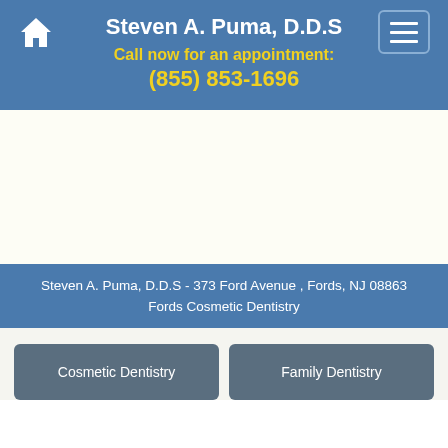Steven A. Puma, D.D.S
Call now for an appointment:
(855) 853-1696
[Figure (other): White/cream blank content area placeholder]
Steven A. Puma, D.D.S - 373 Ford Avenue , Fords, NJ 08863
Fords Cosmetic Dentistry
Cosmetic Dentistry
Family Dentistry